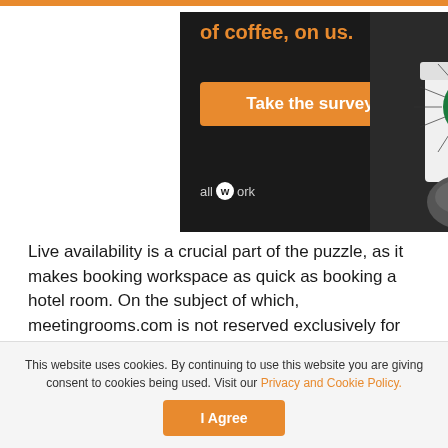[Figure (illustration): Advertisement banner with dark background showing 'of coffee, on us.' in orange text, an orange 'Take the survey' button, 'allwork' logo, and a hand holding a Starbucks cup with green circle logo on the right side.]
Live availability is a crucial part of the puzzle, as it makes booking workspace as quick as booking a hotel room. On the subject of which, meetingrooms.com is not reserved exclusively for the workspace industry. Operators could well find their product shoulder-to-shoulder with a major hotel chain.
However, this can actually open up new audiences for
This website uses cookies. By continuing to use this website you are giving consent to cookies being used. Visit our Privacy and Cookie Policy.
I Agree